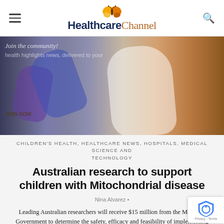[Figure (logo): HealthcareChannel logo with orange butterfly icon above text 'HealthcareChannel']
[Figure (photo): Researcher wearing blue/purple gloves working in a laboratory setting, viewed from behind, with long dark hair]
CHILDREN'S HEALTH, HEALTHCARE NEWS, HOSPITALS, MEDICAL SCIENCE AND TECHNOLOGY
Australian research to support children with Mitochondrial disease
Nina Alvarez •
Leading Australian researchers will receive $15 million from the Morrison Government to determine the safety, efficacy and feasibility of implementing mitochondrial donation reproductive technology following the passing of Maeve's Law. Mitochondrial